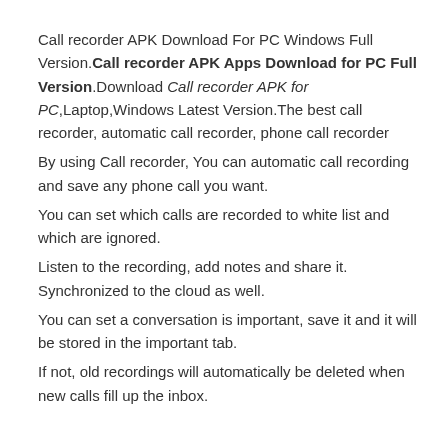Call recorder APK Download For PC Windows Full Version. Call recorder APK Apps Download for PC Full Version. Download Call recorder APK for PC,Laptop,Windows Latest Version.The best call recorder, automatic call recorder, phone call recorder
By using Call recorder, You can automatic call recording and save any phone call you want.
You can set which calls are recorded to white list and which are ignored.
Listen to the recording, add notes and share it. Synchronized to the cloud as well.
You can set a conversation is important, save it and it will be stored in the important tab.
If not, old recordings will automatically be deleted when new calls fill up the inbox.